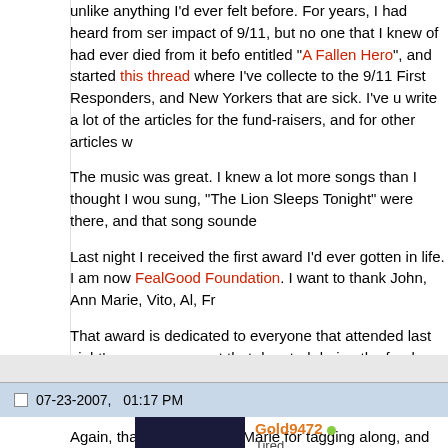unlike anything I'd ever felt before. For years, I had heard from someone of the impact of 9/11, but no one that I knew of had ever died from it before. I entitled "A Fallen Hero", and started this thread where I've collected to the 9/11 First Responders, and New Yorkers that are sick. I've u write a lot of the articles for the fund-raisers, and for other articles w
The music was great. I knew a lot more songs than I thought I wou sung, "The Lion Sleeps Tonight" were there, and that song sounde
Last night I received the first award I'd ever gotten in life. I am now FealGood Foundation. I want to thank John, Ann Marie, Vito, Al, Fr
That award is dedicated to everyone that attended last night's conc movement that donated during the fund-raisers. I would also like to whom I dedicated my 9/11 research to.
Again, thanks to Don and Marie for tagging along, and thanks to A
No One Knows Everything. Only Together May We Find The Truth
07-23-2007, 01:17 PM
Gold9472
Tired